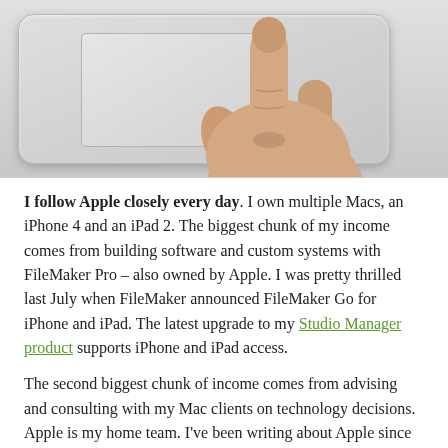[Figure (photo): A hand with one finger pointing/touching a white Apple Magic Trackpad device on a light gray background.]
I follow Apple closely every day. I own multiple Macs, an iPhone 4 and an iPad 2. The biggest chunk of my income comes from building software and custom systems with FileMaker Pro – also owned by Apple. I was pretty thrilled last July when FileMaker announced FileMaker Go for iPhone and iPad. The latest upgrade to my Studio Manager product supports iPhone and iPad access.
The second biggest chunk of income comes from advising and consulting with my Mac clients on technology decisions. Apple is my home team. I've been writing about Apple since System 7 came out in the early nineties. Here's what's going on now.